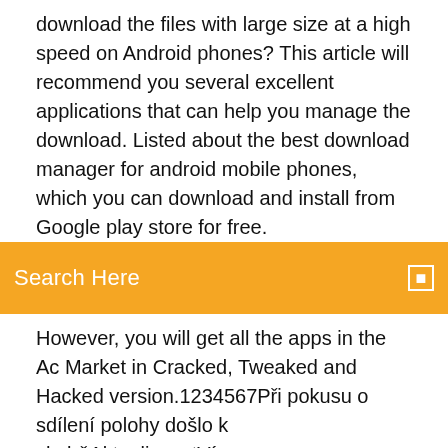download the files with large size at a high speed on Android phones? This article will recommend you several excellent applications that can help you manage the download. Listed about the best download manager for android mobile phones, which you can download and install from Google play store for free.
Search Here
However, you will get all the apps in the Ac Market in Cracked, Tweaked and Hacked version.1234567Při pokusu o sdílení polohy došlo k chyběAktualizovatVíce informacíSeznamNápovědaOchrana údajůStatistika hledanostiPřidat stránku do hledání odkazuje na služby nejen od Seznam.cz. Vice o upoutávkách© 1996–2020 Seznam.cz, a.s. Canary was Windows-only at first; an OS X version was released on May 3, 2011. Looking for the best bittorrent apps for Android to download contents via torrents? Land on this page to find top 10...